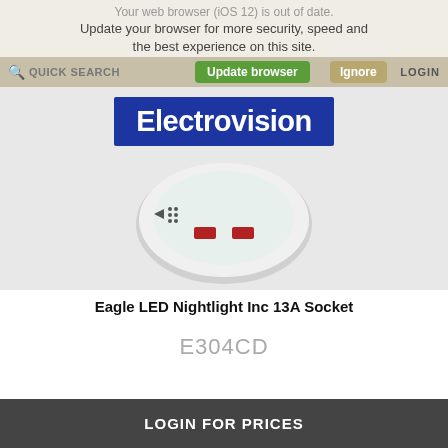Your web browser (iOS 12) is out of date. Update your browser for more security, speed and the best experience on this site.
QUICK SEARCH  Update browser  Ignore  LOGIN
[Figure (logo): Electrovision company logo — white bold text on dark blue background]
[Figure (photo): Eagle LED Nightlight with 13A socket — circular white product shown from front, with two red LED indicators visible]
Eagle LED Nightlight Inc 13A Socket
E304CD
LOGIN FOR PRICES